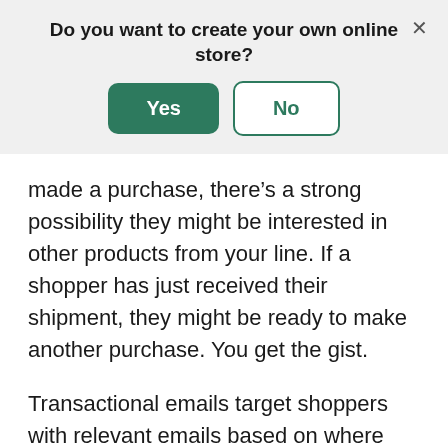Do you want to create your own online store?
made a purchase, there’s a strong possibility they might be interested in other products from your line. If a shopper has just received their shipment, they might be ready to make another purchase. You get the gist.
Transactional emails target shoppers with relevant emails based on where they’re at in the purchasing cycle. Consistent communication like this improves customer relationships and keeps your brand front of mind.